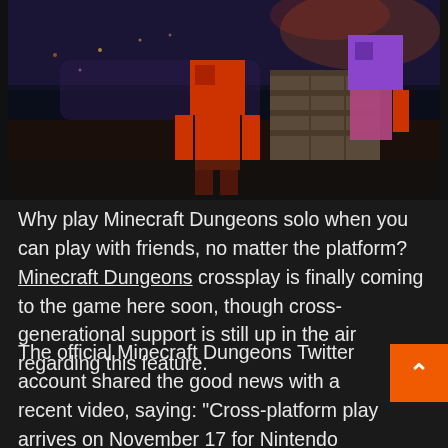[Figure (photo): Screenshot from Minecraft Dungeons showing blocky character figures (one in red/orange armor, one with a purple head) standing on stone blocks, overlooking a dark fantasy landscape with trees and glowing lights in the background.]
Why play Minecraft Dungeons solo when you can play with friends, no matter the platform? Minecraft Dungeons crossplay is finally coming to the game here soon, though cross-generational support is still up in the air regarding this feature.
The official Minecraft Dungeons Twitter account shared the good news with a recent video, saying: "Cross-platform play arrives on November 17 for Nintendo Switch, PlayStation 4, Windows, and Xbox One! It's almost time to join forces — whatever platform